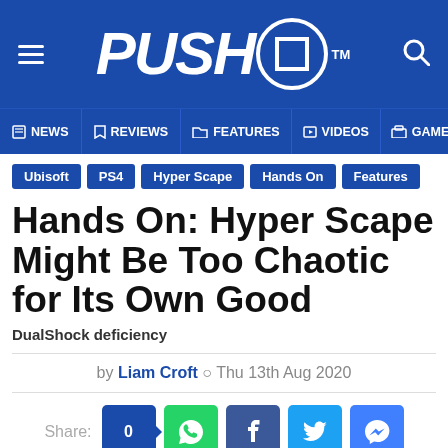[Figure (logo): Push Square website header with logo, hamburger menu, and search icon on blue background]
NEWS | REVIEWS | FEATURES | VIDEOS | GAMES
Ubisoft
PS4
Hyper Scape
Hands On
Features
Hands On: Hyper Scape Might Be Too Chaotic for Its Own Good
DualShock deficiency
by Liam Croft ○ Thu 13th Aug 2020
Share: 0